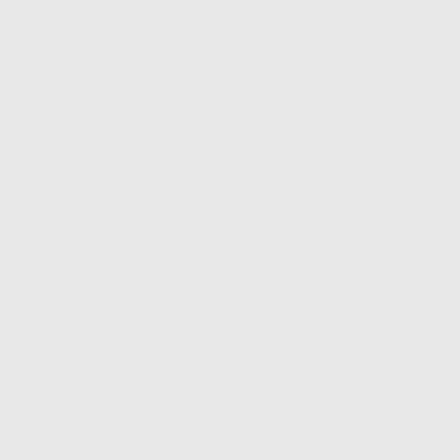Gon.
[matter, Glo. My lord of Kent: my honourable friend,
Dearer than eye-sight, space, a valued, rich or rare;
Kent. I'must love you, and sue to honour : Edm. Sir, I shall study d
As much as child e'er loved, o makes breath poor, and speech b
unables (Trumpets sound within. or division.
# Handsome. More secret. || D
Cor. What shall Cordelia do? Lo
(Aside. To gorge his appetite, s neighbour'd, pitied, and relieved,
(rich'd, As thou my sometime
Good my liege,With plenteous thine and Albany's issue Comé n second I loved her most, and the